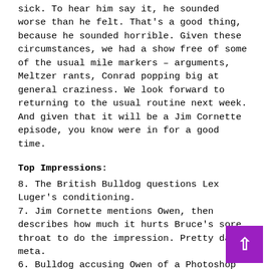sick. To hear him say it, he sounded worse than he felt. That's a good thing, because he sounded horrible. Given these circumstances, we had a show free of some of the usual mile markers – arguments, Meltzer rants, Conrad popping big at general craziness. We look forward to returning to the usual routine next week. And given that it will be a Jim Cornette episode, you know were in for a good time.
Top Impressions:
8. The British Bulldog questions Lex Luger's conditioning.
7. Jim Cornette mentions Owen, then describes how much it hurts Bruce's sore throat to do the impression. Pretty darn meta.
6. Bulldog accusing Owen of a Photoshop job.
5. Vince wrestles with the notion of Champion vs. Champion as opposed to Title vs. Title.
4. Vince doesn't understand the notion of a sibling riva…
3. Stu Hart sounds scary as f**k telling an old friend he's going to mess him up.